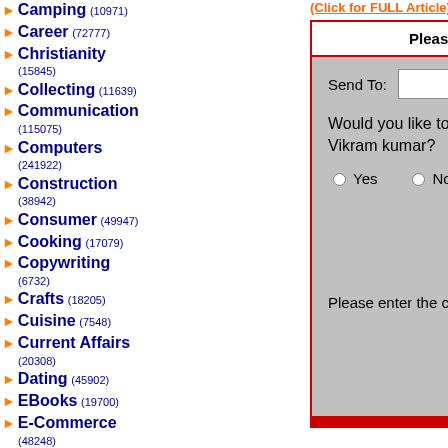Camping (10971)
Career (72777)
Christianity (15845)
Collecting (11639)
Communication (115075)
Computers (241922)
Construction (38942)
Consumer (49947)
Cooking (17079)
Copywriting (6732)
Crafts (18205)
Cuisine (7548)
Current Affairs (20308)
Dating (45902)
EBooks (19700)
E-Commerce (48248)
Education (185377)
Electronics (83517)
Email (6439)
Entertainment (159838)
Environment (28924)
Please fill out this form - The article above will be sent
Send To:
Would you like to be notified of any new articles submitted by this author - Vikram kumar?
Yes   No
[Figure (other): CAPTCHA image displaying the number 534068]
Please enter the code in the image:
Send (button)